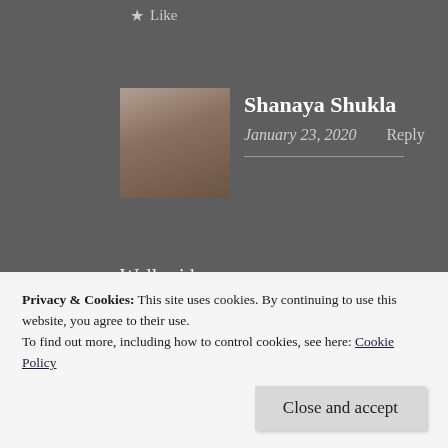Like
Shanaya Shukla
January 23, 2020   Reply
Well said...
Liked by 2 people
REPORT THIS AD
Privacy & Cookies: This site uses cookies. By continuing to use this website, you agree to their use.
To find out more, including how to control cookies, see here: Cookie Policy
Close and accept